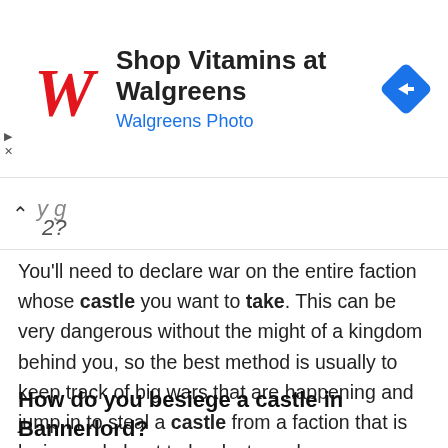[Figure (other): Walgreens advertisement banner with Walgreens logo (stylized red W), text 'Shop Vitamins at Walgreens' and 'Walgreens Photo' in blue, and a blue diamond navigation icon on the right]
2?
You'll need to declare war on the entire faction whose castle you want to take. This can be very dangerous without the might of a kingdom behind you, so the best method is usually to keep track of big wars that are happening and jump in to steal a castle from a faction that is losing and about to be destroyed.
How do you besiege a castle in Bannerlord?